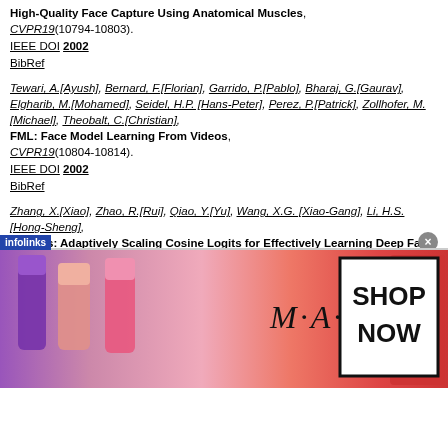High-Quality Face Capture Using Anatomical Muscles, CVPR19(10794-10803). IEEE DOI 2002 BibRef
Tewari, A.[Ayush], Bernard, F.[Florian], Garrido, P.[Pablo], Bharaj, G.[Gaurav], Elgharib, M.[Mohamed], Seidel, H.P.[Hans-Peter], Perez, P.[Patrick], Zollhofer, M.[Michael], Theobalt, C.[Christian], FML: Face Model Learning From Videos, CVPR19(10804-10814). IEEE DOI 2002 BibRef
Zhang, X.[Xiao], Zhao, R.[Rui], Qiao, Y.[Yu], Wang, X.G.[Xiao-Gang], Li, H.S.[Hong-Sheng], AdaCos: Adaptively Scaling Cosine Logits for Effectively Learning Deep Face Representations, CVPR19(10815-10824).
[Figure (photo): Advertisement banner for MAC cosmetics showing lipstick products on the left side and a SHOP NOW box on the right, with infolinks badge in the corner and close button.]